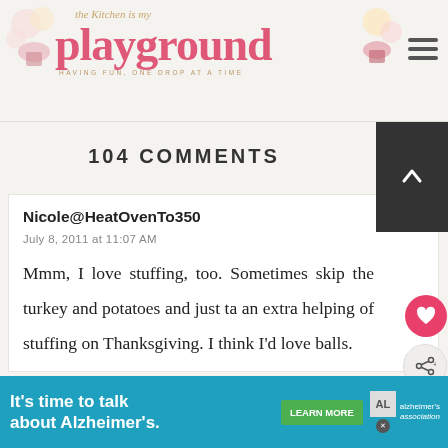the Kitchen is my playground — HAVING FUN, ONE DROP AT A TIME
104 COMMENTS
Nicole@HeatOvenTo350
July 8, 2011 at 11:07 AM
Mmm, I love stuffing, too. Sometimes skip the turkey and potatoes and just take an extra helping of stuffing on Thanksgiving. I think I'd love balls.
[Figure (infographic): What's Next panel showing Quick Salami & Cream...]
[Figure (infographic): Advertisement banner: It's time to talk about Alzheimer's. with LEARN MORE button and Alzheimer's Association logo]